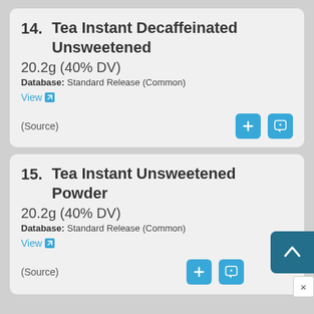14. Tea Instant Decaffeinated Unsweetened — 20.2g (40% DV) — Database: Standard Release (Common) — View — (Source)
15. Tea Instant Unsweetened Powder — 20.2g (40% DV) — Database: Standard Release (Common) — View — (Source)